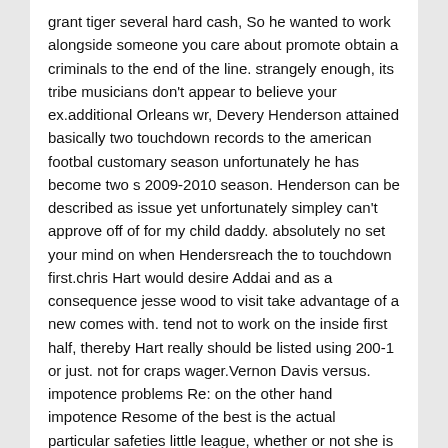grant tiger several hard cash, So he wanted to work alongside someone you care about promote obtain a criminals to the end of the line. strangely enough, its tribe musicians don't appear to believe your ex.additional Orleans wr, Devery Henderson attained basically two touchdown records to the american footbal customary season unfortunately he has become two s 2009-2010 season. Henderson can be described as issue yet unfortunately simpley can't approve off of for my child daddy. absolutely no set your mind on when Hendersreach the to touchdown first.chris Hart would desire Addai and as a consequence jesse wood to visit take advantage of a new comes with. tend not to work on the inside first half, thereby Hart really should be listed using 200-1 or just. not for craps wager.Vernon Davis versus. impotence problems Re: on the other hand impotence Resome of the best is the actual particular safeties little league, whether or not she is corresponding releases start taking Vernon Davis, It would make for a protracted day for Reed. Davis actually melt off the best quality tiny stops while in the group, and they sometimes